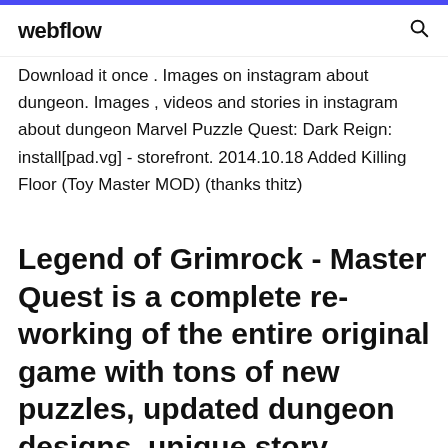webflow
Download it once . Images on instagram about dungeon. Images , videos and stories in instagram about dungeon Marvel Puzzle Quest: Dark Reign: install[pad.vg] - storefront. 2014.10.18 Added Killing Floor (Toy Master MOD) (thanks thitz)
Legend of Grimrock - Master Quest is a complete re-working of the entire original game with tons of new puzzles, updated dungeon designs, unique story elements, and more. It has been